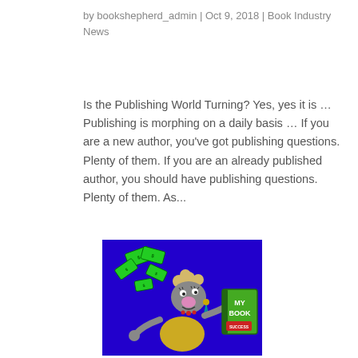by bookshepherd_admin | Oct 9, 2018 | Book Industry News
Is the Publishing World Turning? Yes, yes it is … Publishing is morphing on a daily basis … If you are a new author, you've got publishing questions. Plenty of them. If you are an already published author, you should have publishing questions. Plenty of them. As...
[Figure (illustration): Cartoon sheep character on blue background holding a book labeled 'MY BOOK' with money flying around]